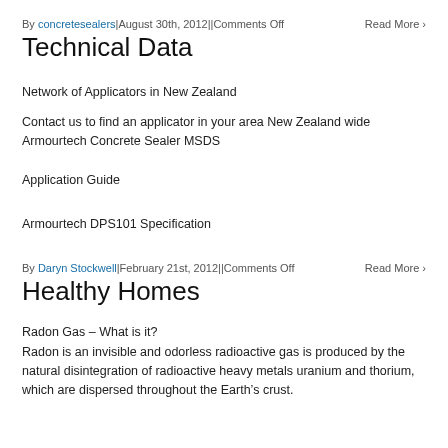By concretesealers|August 30th, 2012||Comments Off   Read More >
Technical Data
Network of Applicators in New Zealand
Contact us to find an applicator in your area New Zealand wide
Armourtech Concrete Sealer MSDS
Application Guide
Armourtech DPS101 Specification
By Daryn Stockwell|February 21st, 2012||Comments Off   Read More >
Healthy Homes
Radon Gas – What is it?
Radon is an invisible and odorless radioactive gas is produced by the natural disintegration of radioactive heavy metals uranium and thorium, which are dispersed throughout the Earth's crust.